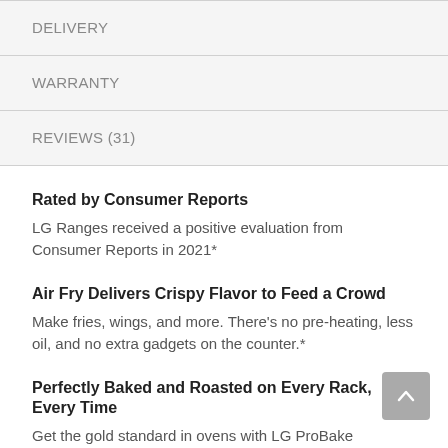DELIVERY
WARRANTY
REVIEWS (31)
Rated by Consumer Reports
LG Ranges received a positive evaluation from Consumer Reports in 2021*
Air Fry Delivers Crispy Flavor to Feed a Crowd
Make fries, wings, and more. There's no pre-heating, less oil, and no extra gadgets on the counter.*
Perfectly Baked and Roasted on Every Rack, Every Time
Get the gold standard in ovens with LG ProBake Convection®